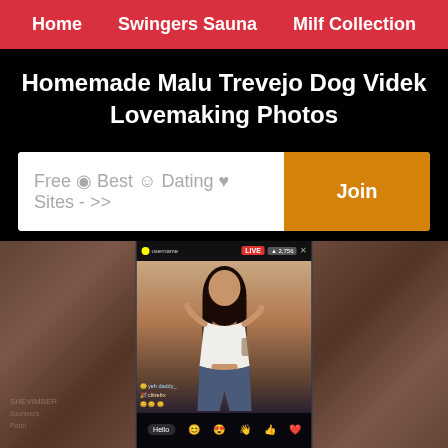Home   Swingers Sauna   Milf Collection
Homemade Malu Trevejo Dog Videk Lovemaking Photos
Free ◉ Best ☺ Dating ♥ Sites - >>
[Figure (screenshot): Screenshot of a social media live stream showing a young woman in a white top, with comments and emoji reactions visible at the bottom. Blurred background with watermark text on sides.]